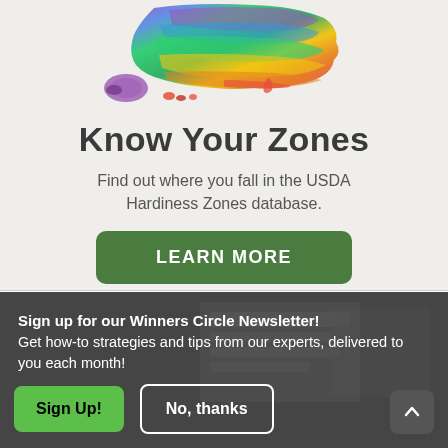[Figure (map): USDA Plant Hardiness Zone Map of the United States shown in rainbow color gradient from purple/blue in the north to green, yellow, and orange/red in the south, with Alaska and Hawaii insets.]
Know Your Zones
Find out where you fall in the USDA Hardiness Zones database.
LEARN MORE
Sign up for our Winners Circle Newsletter! Get how-to strategies and tips from our experts, delivered to you each month!
Sign Up!
No, thanks